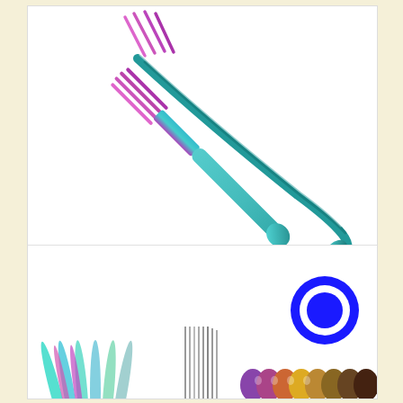[Figure (photo): A single rainbow/iridescent colored fork with four tines, shown diagonally on a white background. The fork has a colorful metallic finish transitioning from pink/purple at the tines to teal/cyan at the handle.]
[Figure (photo): Bottom portion shows multiple rainbow-colored forks arranged in a fan pattern on the left, silver metallic forks in the middle, and multiple rainbow-colored spoon/teardrop heads on the right. A blue circular chat/message icon is visible in the upper right area of this panel.]